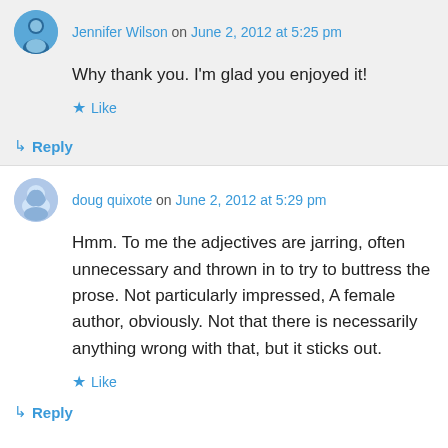Jennifer Wilson on June 2, 2012 at 5:25 pm
Why thank you. I'm glad you enjoyed it!
★ Like
↳ Reply
doug quixote on June 2, 2012 at 5:29 pm
Hmm. To me the adjectives are jarring, often unnecessary and thrown in to try to buttress the prose. Not particularly impressed, A female author, obviously. Not that there is necessarily anything wrong with that, but it sticks out.
★ Like
↳ Reply